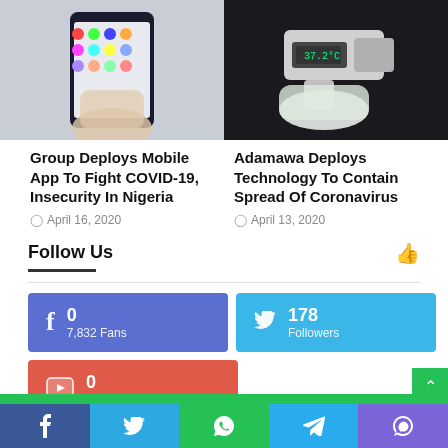[Figure (photo): Hand holding a smartphone with colorful app icons visible on the screen]
[Figure (photo): Person in medical gloves holding a digital thermometer/temperature scanner]
Group Deploys Mobile App To Fight COVID-19, Insecurity In Nigeria
April 16, 2020
Adamawa Deploys Technology To Contain Spread Of Coronavirus
April 13, 2020
Follow Us
0
7,832 Fans
178
Followers
0
23 Subscribers